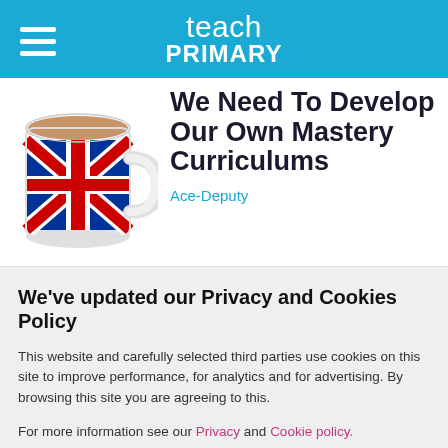teach PRIMARY
[Figure (photo): Union Jack mug with tea]
We Need To Develop Our Own Mastery Curriculums
Ace-Deputy
We've updated our Privacy and Cookies Policy
This website and carefully selected third parties use cookies on this site to improve performance, for analytics and for advertising. By browsing this site you are agreeing to this.
For more information see our Privacy and Cookie policy.